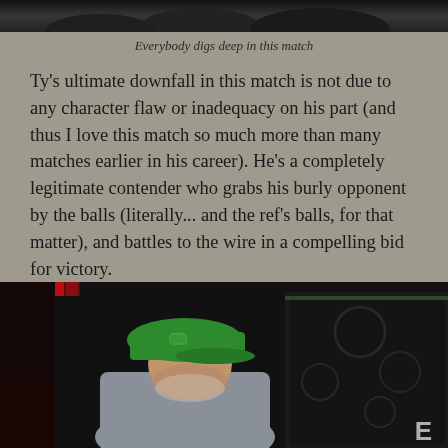[Figure (photo): Top strip showing partial photo of wrestlers or fighters in dark clothing]
Everybody digs deep in this match
Ty's ultimate downfall in this match is not due to any character flaw or inadequacy on his part (and thus I love this match so much more than many matches earlier in his career). He's a completely legitimate contender who grabs his burly opponent by the balls (literally... and the ref's balls, for that matter), and battles to the wire in a compelling bid for victory.
[Figure (photo): Man wearing a green New Era baseball cap and gray t-shirt, head bowed, in a wrestling or boxing venue with decorative backdrop visible]